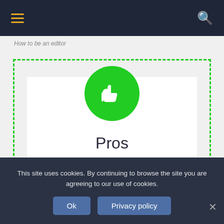Navigation bar with hamburger menu and search icon
How to be an editor
[Figure (infographic): Green dashed border box containing a white card with a green circle thumbs-up icon, 'Pros' heading, and two list items with green checkmarks: 'Affordable;' and 'Sophisticated design and']
Affordable;
Sophisticated design and
This site uses cookies. By continuing to browse the site you are agreeing to our use of cookies.